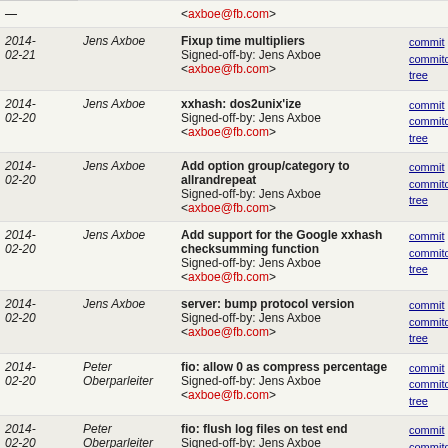| Date | Author | Message | Links |
| --- | --- | --- | --- |
| 2014-02-21 | Jens Axboe | Fixup time multipliers
Signed-off-by: Jens Axboe <axboe@fb.com> | commit | commitdiff | tree |
| 2014-02-20 | Jens Axboe | xxhash: dos2unix'ize
Signed-off-by: Jens Axboe <axboe@fb.com> | commit | commitdiff | tree |
| 2014-02-20 | Jens Axboe | Add option group/category to allrandrepeat
Signed-off-by: Jens Axboe <axboe@fb.com> | commit | commitdiff | tree |
| 2014-02-20 | Jens Axboe | Add support for the Google xxhash checksumming function
Signed-off-by: Jens Axboe <axboe@fb.com> | commit | commitdiff | tree |
| 2014-02-20 | Jens Axboe | server: bump protocol version
Signed-off-by: Jens Axboe <axboe@fb.com> | commit | commitdiff | tree |
| 2014-02-20 | Peter Oberparleiter | fio: allow 0 as compress percentage
Signed-off-by: Jens Axboe <axboe@fb.com> | commit | commitdiff | tree |
| 2014-02-20 | Peter Oberparleiter | fio: flush log files on test end
Signed-off-by: Jens Axboe <axboe@fb.com> | commit | commitdiff | tree |
| 2014- | Christian | fio: allow to combine terse | commit | commitdiff | |